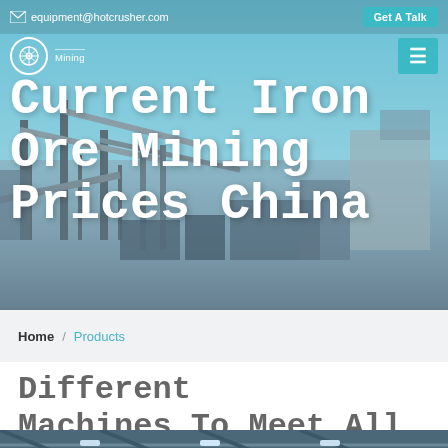equipment@hotcrusher.com   Get A Talk
[Figure (screenshot): Industrial mining facility hero banner with conveyor belts and crushing equipment against a blue sky background]
Current Iron Ore Mining Prices China
Home / Products
Different Machines To Meet All Need
[Figure (photo): Interior of industrial warehouse/factory with steel structure roof trusses and equipment]